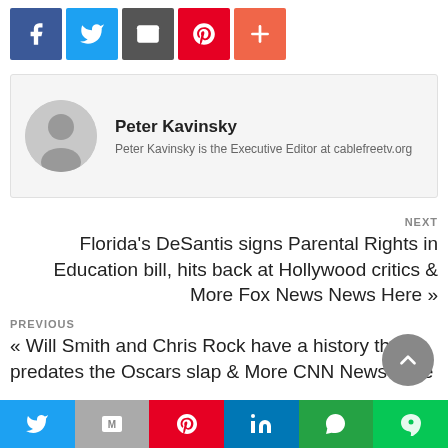[Figure (infographic): Social share buttons row: Facebook (blue), Twitter (light blue), Email (dark gray), Pinterest (red), More/Plus (orange)]
[Figure (infographic): Author bio box with gray avatar placeholder showing silhouette, name Peter Kavinsky, and bio text]
Peter Kavinsky
Peter Kavinsky is the Executive Editor at cablefreetv.org
NEXT
Florida’s DeSantis signs Parental Rights in Education bill, hits back at Hollywood critics & More Fox News News Here »
PREVIOUS
« Will Smith and Chris Rock have a history that predates the Oscars slap & More CNN News Here
[Figure (infographic): Bottom social share bar: Twitter (blue), Gmail/M (gray), Pinterest (red), LinkedIn (blue), WhatsApp (green), Line (green)]